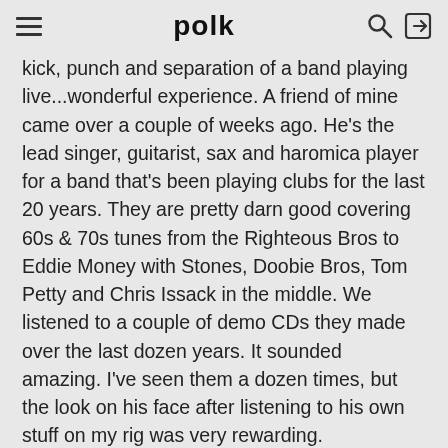polk
kick, punch and separation of a band playing live...wonderful experience. A friend of mine came over a couple of weeks ago. He's the lead singer, guitarist, sax and haromica player for a band that's been playing clubs for the last 20 years. They are pretty darn good covering 60s & 70s tunes from the Righteous Bros to Eddie Money with Stones, Doobie Bros, Tom Petty and Chris Issack in the middle. We listened to a couple of demo CDs they made over the last dozen years. It sounded amazing. I've seen them a dozen times, but the look on his face after listening to his own stuff on my rig was very rewarding.
mhw58  Posts: 359
September 2009  edited September 2009